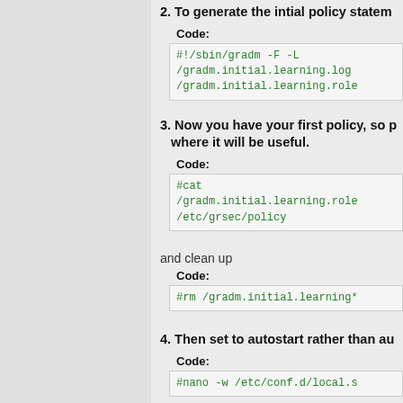2. To generate the intial policy statement:
Code:
#!/sbin/gradm -F -L /gradm.initial.learning.log /gradm.initial.learning.role
3. Now you have your first policy, so p... where it will be useful.
Code:
#cat /gradm.initial.learning.role /etc/grsec/policy
and clean up
Code:
#rm /gradm.initial.learning*
4. Then set to autostart rather than au...
Code:
#nano -w /etc/conf.d/local.s